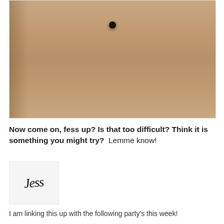[Figure (photo): Close-up photo of a person's midsection/abdomen with a belly button visible, warm sepia-toned skin tone, with shadow on the left side]
Now come on, fess up? Is that too difficult? Think it is something you might try?  Lemme know!
[Figure (illustration): Handwritten signature reading 'Jess' in cursive script on a light grey background box]
I am linking this up with the following party's this week!